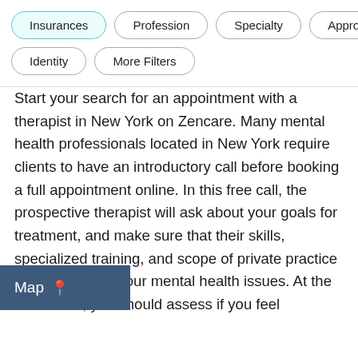Insurances
Profession
Specialty
Approach
Identity
More Filters
Start your search for an appointment with a therapist in New York on Zencare. Many mental health professionals located in New York require clients to have an introductory call before booking a full appointment online. In this free call, the prospective therapist will ask about your goals for treatment, and make sure that their skills, specialized training, and scope of private practice are a match for your mental health issues. At the same time, you should assess if you feel comfortable talking with the therapist, as studies show that the most important determinant of successful therapy is the relationship between therapist and client. After an initial [call, you'll] typically be given the option to book an [appointme]nt with the therapist, or continue your search if it's not a good fit. At the initial session, you'll likely